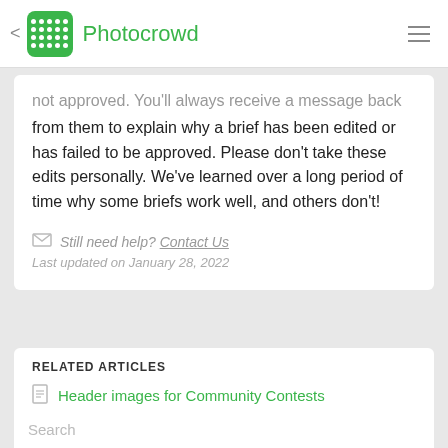< Photocrowd
not approved. You'll always receive a message back from them to explain why a brief has been edited or has failed to be approved. Please don't take these edits personally. We've learned over a long period of time why some briefs work well, and others don't!
Still need help? Contact Us
Last updated on January 28, 2022
RELATED ARTICLES
Header images for Community Contests